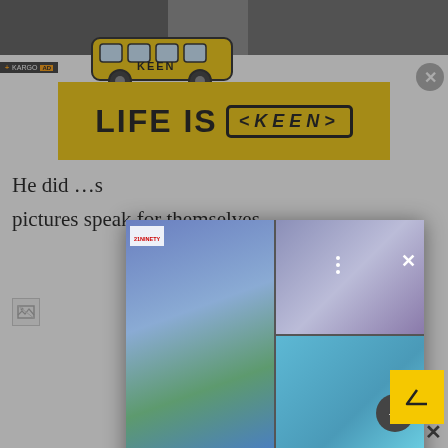[Figure (screenshot): Top image strip showing two photos partially visible, dark gray background]
[Figure (illustration): Yellow school bus illustration (KEEN branding)]
[Figure (screenshot): Kargo AD banner with yellow background reading LIFE IS KEEN]
He di... s pictures speak for themselves.
[Figure (screenshot): Overlay card showing Mattel Barbie Madam C.J. Walker doll images in a grid, with title Mattel Introduces New BarbieHonoringMadam C.J. Walker- 21Ninety]
Mattel Introduces New BarbieHonoringMadam C.J. Walker- 21Ninety
[Figure (screenshot): Yellow back-to-top button with upward arrow, bottom right corner]